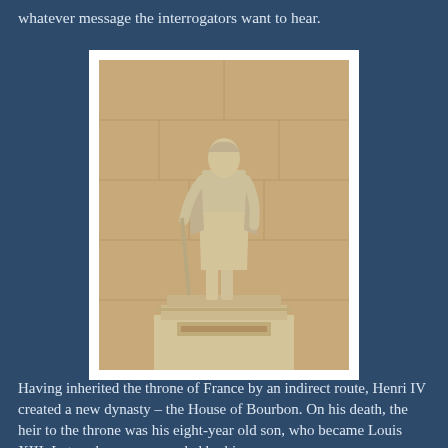whatever message the interrogators want to hear.
[Figure (photo): A marble or stone statue of Henri IV on a pedestal, displayed indoors against a stone wall background. The figure is dressed in regal robes and stands on a stepped base with inscriptions.]
Having inherited the throne of France by an indirect route, Henri IV created a new dynasty – the House of Bourbon. On his death, the heir to the throne was his eight-year old son, who became Louis XIII. In turn he was succeeded by his